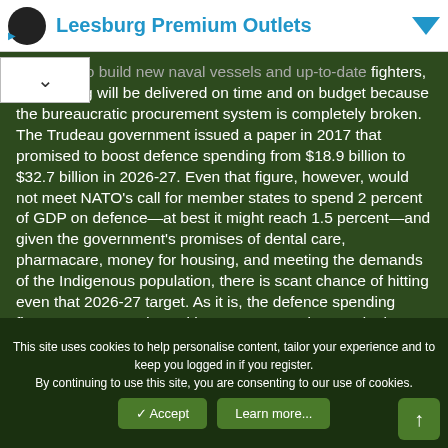[Figure (other): Ad banner for Leesburg Premium Outlets with logo, title in blue, and dropdown arrow]
ive plans to build new naval vessels and up-to-date fighters, but nothing will be delivered on time and on budget because the bureaucratic procurement system is completely broken. The Trudeau government issued a paper in 2017 that promised to boost defence spending from $18.9 billion to $32.7 billion in 2026-27. Even that figure, however, would not meet NATO's call for member states to spend 2 percent of GDP on defence—at best it might reach 1.5 percent—and given the government's promises of dental care, pharmacare, money for housing, and meeting the demands of the Indigenous population, there is scant chance of hitting even that 2026-27 target. As it is, the defence spending figures are pumped up with veterans' pensions and other federal department spending, all amounting to some 20 percent of the purported current $24 billion defence expenditure.
This site uses cookies to help personalise content, tailor your experience and to keep you logged in if you register.
By continuing to use this site, you are consenting to our use of cookies.